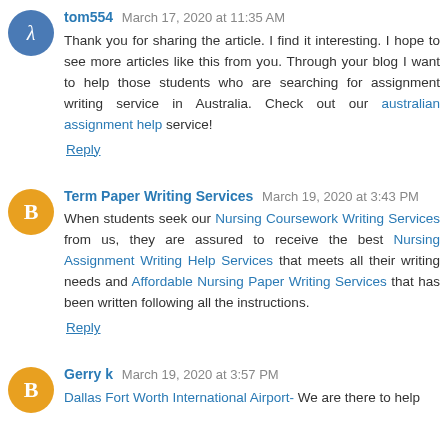tom554 March 17, 2020 at 11:35 AM
Thank you for sharing the article. I find it interesting. I hope to see more articles like this from you. Through your blog I want to help those students who are searching for assignment writing service in Australia. Check out our australian assignment help service!
Reply
Term Paper Writing Services March 19, 2020 at 3:43 PM
When students seek our Nursing Coursework Writing Services from us, they are assured to receive the best Nursing Assignment Writing Help Services that meets all their writing needs and Affordable Nursing Paper Writing Services that has been written following all the instructions.
Reply
Gerry k March 19, 2020 at 3:57 PM
Dallas Fort Worth International Airport- We are there to help